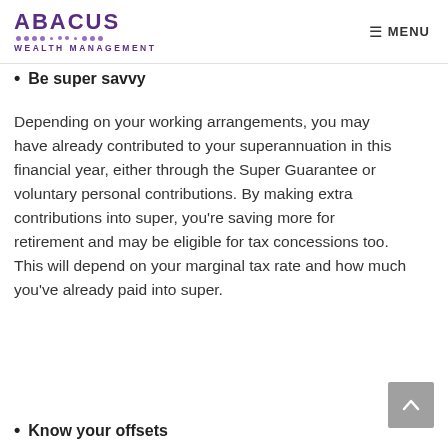ABACUS WEALTH MANAGEMENT | MENU
Be super savvy
Depending on your working arrangements, you may have already contributed to your superannuation in this financial year, either through the Super Guarantee or voluntary personal contributions. By making extra contributions into super, you're saving more for retirement and may be eligible for tax concessions too. This will depend on your marginal tax rate and how much you've already paid into super.
Know your offsets